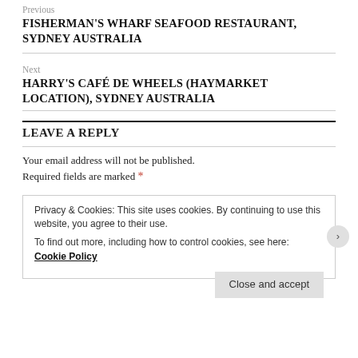Previous
FISHERMAN'S WHARF SEAFOOD RESTAURANT, SYDNEY AUSTRALIA
Next
HARRY'S CAFÉ DE WHEELS (HAYMARKET LOCATION), SYDNEY AUSTRALIA
LEAVE A REPLY
Your email address will not be published. Required fields are marked *
Privacy & Cookies: This site uses cookies. By continuing to use this website, you agree to their use. To find out more, including how to control cookies, see here: Cookie Policy